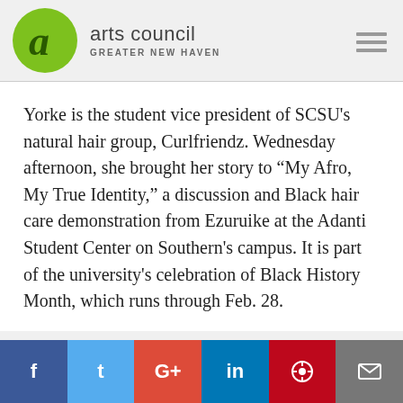[Figure (logo): Arts Council Greater New Haven logo: green circle with stylized 'a', alongside text 'arts council GREATER NEW HAVEN']
Yorke is the student vice president of SCSU's natural hair group, Curlfriendz. Wednesday afternoon, she brought her story to “My Afro, My True Identity,” a discussion and Black hair care demonstration from Ezuruike at the Adanti Student Center on Southern's campus. It is part of the university's celebration of Black History Month, which runs through Feb. 28.
f  t  G+  in   pinterest  email (social share bar)